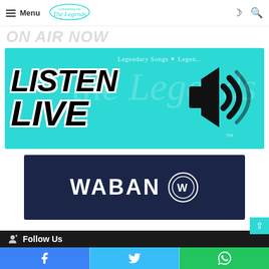Menu | The Legends [logo]
On Air Now
[Figure (illustration): Listen Live banner with teal/turquoise background, bold black italic text reading 'Listen Live' with white stroke outline, speaker/volume icon on the right, The Legends watermark text in background]
[Figure (logo): WABAN logo on dark navy background with white text and circular badge icon]
Follow Us
Facebook | Twitter | WhatsApp share buttons